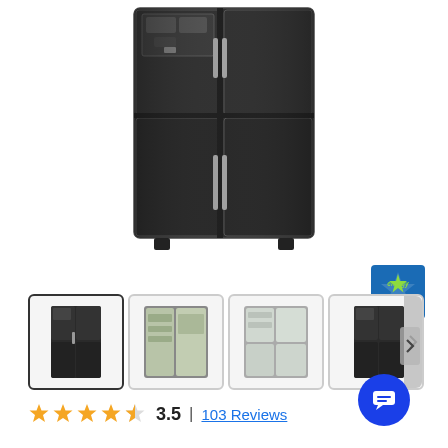[Figure (photo): Samsung black stainless steel 4-door French door refrigerator with water/ice dispenser on upper left door, viewed from the front]
[Figure (logo): Energy Star certification badge - blue square with green Energy Star logo and text ENERGY STAR]
[Figure (photo): Thumbnail 1 (selected): Front view of black stainless Samsung refrigerator with dispenser]
[Figure (photo): Thumbnail 2: Open refrigerator showing interior with food items]
[Figure (photo): Thumbnail 3: Open refrigerator showing interior shelves and drawers]
[Figure (photo): Thumbnail 4: Side-angled view of black stainless refrigerator]
3.5 | 103 Reviews